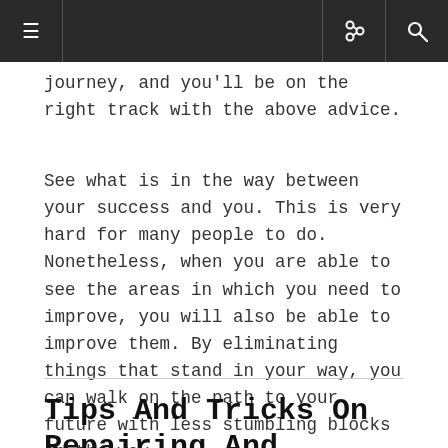≡ [nav icons]
journey, and you'll be on the right track with the above advice.
See what is in the way between your success and you. This is very hard for many people to do. Nonetheless, when you are able to see the areas in which you need to improve, you will also be able to improve them. By eliminating things that stand in your way, you can walk on the path to your future with less stumbling blocks on the way.
Tips And Tricks On Repairing And Maintaining Your Reputation